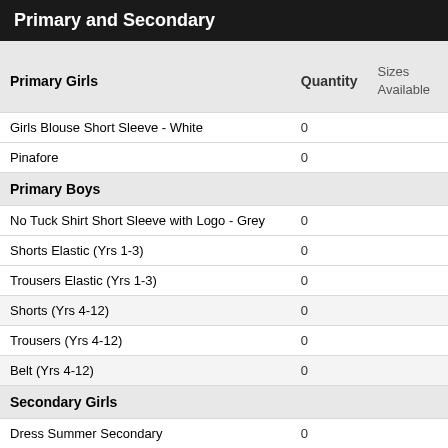Primary and Secondary
| Primary Girls | Quantity | Sizes Available |
| --- | --- | --- |
| Girls Blouse Short Sleeve - White | 0 |  |
| Pinafore | 0 |  |
| Primary Boys |  |  |
| No Tuck Shirt Short Sleeve with Logo - Grey | 0 |  |
| Shorts Elastic (Yrs 1-3) | 0 |  |
| Trousers Elastic (Yrs 1-3) | 0 |  |
| Shorts (Yrs 4-12) | 0 |  |
| Trousers (Yrs 4-12) | 0 |  |
| Belt (Yrs 4-12) | 0 |  |
| Secondary Girls |  |  |
| Dress Summer Secondary | 0 |  |
| Girls Blouse Short Sleeve - White | 0 |  |